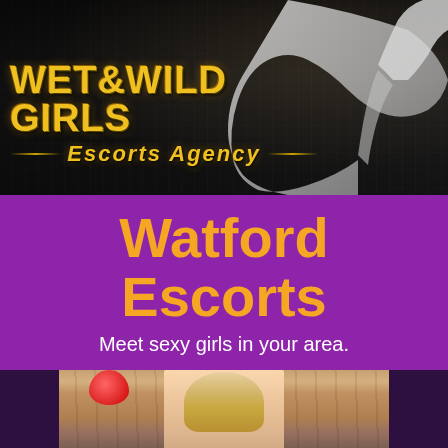[Figure (photo): WET&WILD GIRLS Escorts Agency banner with dark rainy background and white high heel shoe silhouette, gold text logo]
Watford Escorts
Meet sexy girls in your area.
[Figure (photo): Photo of a blonde woman in front of a wooden background with a red balloon, partially visible]